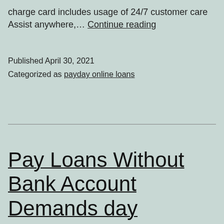charge card includes usage of 24/7 customer care Assist anywhere,… Continue reading
Published April 30, 2021
Categorized as payday online loans
Pay Loans Without Bank Account Demands day